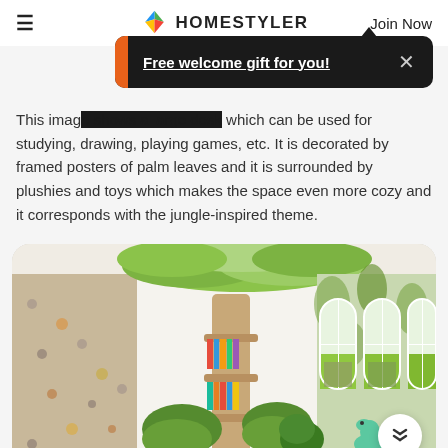≡  HOMESTYLER  Join Now
[Figure (screenshot): Dark popup banner with orange accent on left side reading 'Free welcome gift for you!' with underline and an X close button on the right]
This image ... which can be used for studying, drawing, playing games, etc. It is decorated by framed posters of palm leaves and it is surrounded by plushies and toys which makes the space even more cozy and it corresponds with the jungle-inspired theme.
[Figure (photo): Interior design render of a jungle-themed children's room featuring a rock climbing wall on the left, a large tree-shaped bookshelf in the center with green leaf canopy on the ceiling, arched windows with garden view on the right, and green tropical wallpaper with toys and dinosaur figurines.]